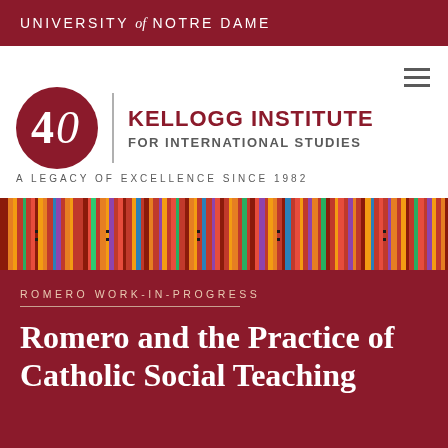UNIVERSITY of NOTRE DAME
[Figure (logo): Kellogg Institute for International Studies 40th anniversary logo with circular red badge showing '40' and vertical divider line]
A LEGACY OF EXCELLENCE SINCE 1982
[Figure (photo): Colorful woven textile fabric banner with vertical stripes in red, yellow, orange, purple, green and other colors]
ROMERO WORK-IN-PROGRESS
Romero and the Practice of Catholic Social Teaching